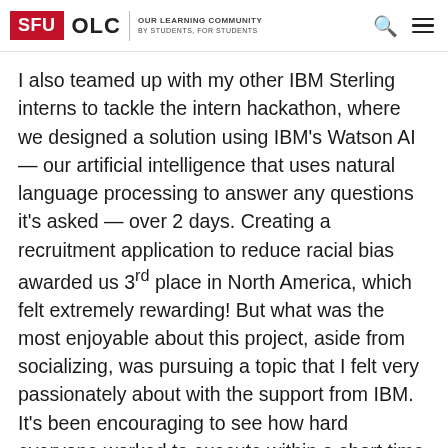SFU OLC | OUR LEARNING COMMUNITY BY STUDENTS, FOR STUDENTS
I also teamed up with my other IBM Sterling interns to tackle the intern hackathon, where we designed a solution using IBM's Watson AI — our artificial intelligence that uses natural language processing to answer any questions it's asked — over 2 days. Creating a recruitment application to reduce racial bias awarded us 3rd place in North America, which felt extremely rewarding! But what was the most enjoyable about this project, aside from socializing, was pursuing a topic that I felt very passionately about with the support from IBM. It's been encouraging to see how hard everyone worked to execute within a short time frame, and to see our idea gaining more interest from across the company.